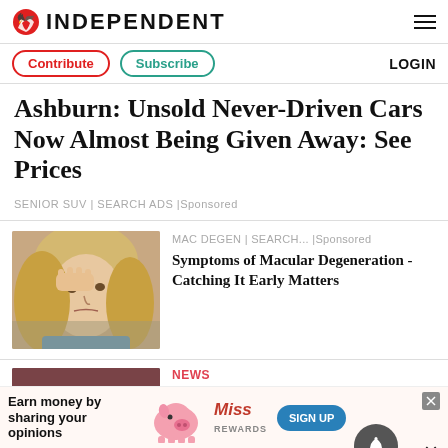INDEPENDENT
Contribute | Subscribe | LOGIN
Ashburn: Unsold Never-Driven Cars Now Almost Being Given Away: See Prices
SENIOR SUV | SEARCH ADS | Sponsored
[Figure (photo): Middle-aged blonde woman with hand on head looking stressed or concerned]
MAC DEGEN | SEARCH... | Sponsored
Symptoms of Macular Degeneration - Catching It Early Matters
[Figure (photo): Crowd of people at a public event including politicians]
NEWS
Ivana Trump walked out on
[Figure (infographic): Bottom banner ad: Earn money by sharing your opinions - Miss Rewards SIGN UP]